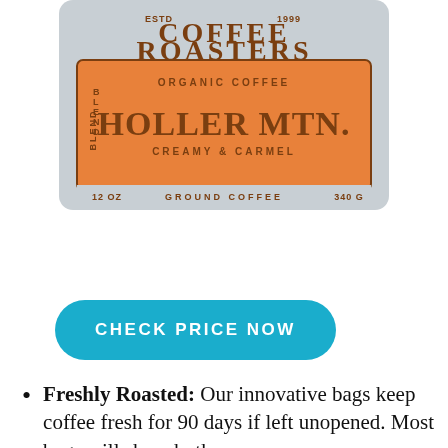[Figure (photo): Coffee bag product image showing 'Coffee Roasters' branding with 'Holler Mtn.' organic coffee blend, creamy & caramel flavor, 12 oz ground coffee, 340g. Orange label on silver/grey bag.]
CHECK PRICE NOW
Freshly Roasted: Our innovative bags keep coffee fresh for 90 days if left unopened. Most bags will show both